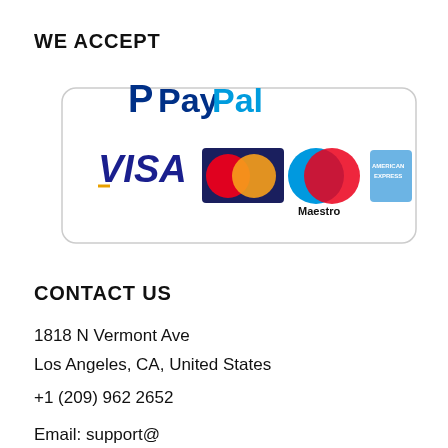WE ACCEPT
[Figure (logo): Payment methods logos: PayPal, Visa, MasterCard, Maestro, American Express inside a rounded rectangle border]
CONTACT US
1818 N Vermont Ave
Los Angeles, CA, United States
+1 (209) 962 2652
Email: support@